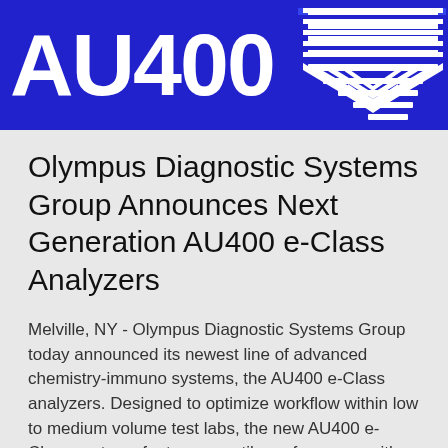[Figure (logo): Blue banner header with 'AU400' text in large white bold letters on the left, and a geometric white striped/chevron pattern on the right side, on a blue background.]
Olympus Diagnostic Systems Group Announces Next Generation AU400 e-Class Analyzers
Melville, NY - Olympus Diagnostic Systems Group today announced its newest line of advanced chemistry-immuno systems, the AU400 e-Class analyzers. Designed to optimize workflow within low to medium volume test labs, the new AU400 e-Class systems feature versatile performance with a 122-test menu that includes chemistry, specific proteins, DAT, TRM, thyroid and nutrients tests. The